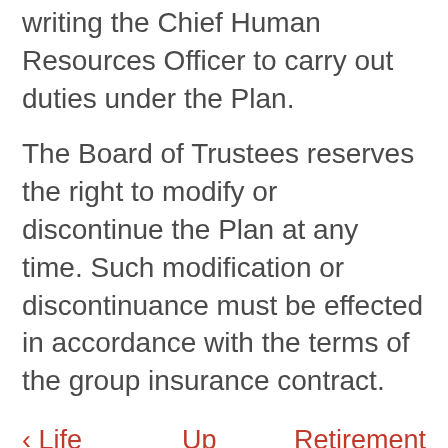writing the Chief Human Resources Officer to carry out duties under the Plan.
The Board of Trustees reserves the right to modify or discontinue the Plan at any time. Such modification or discontinuance must be effected in accordance with the terms of the group insurance contract.
‹ Life Insurance, AD&D - College Provided    Up    Retirement Plan ›